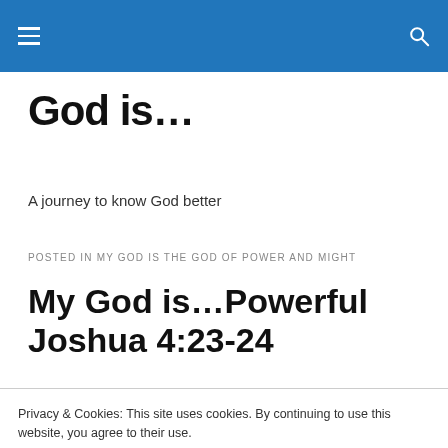God is... [navigation bar]
God is...
A journey to know God better
POSTED IN MY GOD IS THE GOD OF POWER AND MIGHT
My God is...Powerful Joshua 4:23-24
Privacy & Cookies: This site uses cookies. By continuing to use this website, you agree to their use.
To find out more, including how to control cookies, see here: Cookie Policy